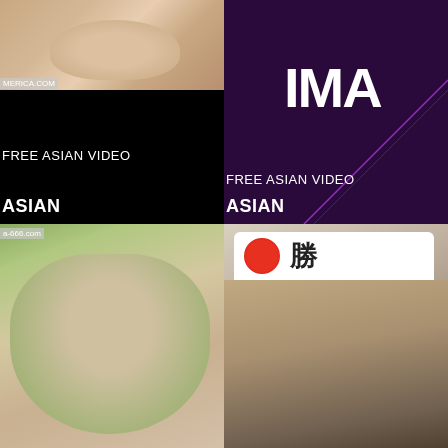[Figure (photo): Thumbnail of person on couch, flesh tones, with watermark MERICA.COM]
FREE ASIAN VIDEO
[Figure (photo): Dark purple background with diagonal purple line and white bold text IMA (partially visible)]
FREE ASIAN VIDEO
ASIAN
ASIAN
[Figure (photo): Close-up thumbnail with green fabric, watermark a-666.com]
[Figure (photo): Person wearing white headband with red circle and kanji character 勝]